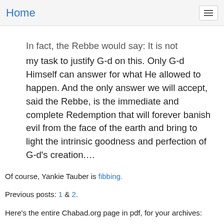Home
In fact, the Rebbe would say: It is not my task to justify G-d on this. Only G-d Himself can answer for what He allowed to happen. And the only answer we will accept, said the Rebbe, is the immediate and complete Redemption that will forever banish evil from the face of the earth and bring to light the intrinsic goodness and perfection of G-d's creation....
Of course, Yankie Tauber is fibbing.
Previous posts: 1 & 2.
Here's the entire Chabad.org page in pdf, for your archives:
Download
what_the_rebbe_said_and_didnt_say_about_the_holocaust_the_holocat